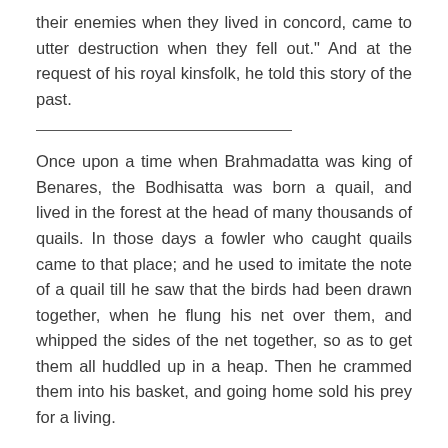their enemies when they lived in concord, came to utter destruction when they fell out." And at the request of his royal kinsfolk, he told this story of the past.
Once upon a time when Brahmadatta was king of Benares, the Bodhisatta was born a quail, and lived in the forest at the head of many thousands of quails. In those days a fowler who caught quails came to that place; and he used to imitate the note of a quail till he saw that the birds had been drawn together, when he flung his net over them, and whipped the sides of the net together, so as to get them all huddled up in a heap. Then he crammed them into his basket, and going home sold his prey for a living.
Now one day the Bodhisatta said to those